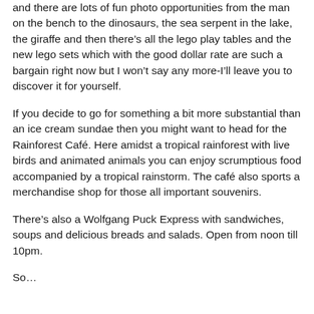and there are lots of fun photo opportunities from the man on the bench to the dinosaurs, the sea serpent in the lake, the giraffe and then there’s all the lego play tables and the new lego sets which with the good dollar rate are such a bargain right now but I won’t say any more-I’ll leave you to discover it for yourself.
If you decide to go for something a bit more substantial than an ice cream sundae then you might want to head for the Rainforest Café. Here amidst a tropical rainforest with live birds and animated animals you can enjoy scrumptious food accompanied by a tropical rainstorm. The café also sports a merchandise shop for those all important souvenirs.
There’s also a Wolfgang Puck Express with sandwiches, soups and delicious breads and salads. Open from noon till 10pm.
SoI mean A next to me...